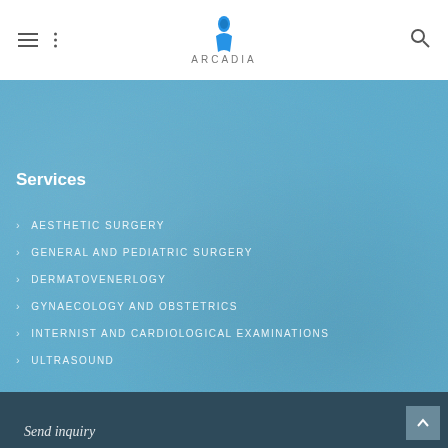ARCADIA
Services
AESTHETIC SURGERY
GENERAL AND PEDIATRIC SURGERY
DERMATOVENERLOGY
GYNAECOLOGY AND OBSTETRICS
INTERNIST AND CARDIOLOGICAL EXAMINATIONS
ULTRASOUND
Send inquiry